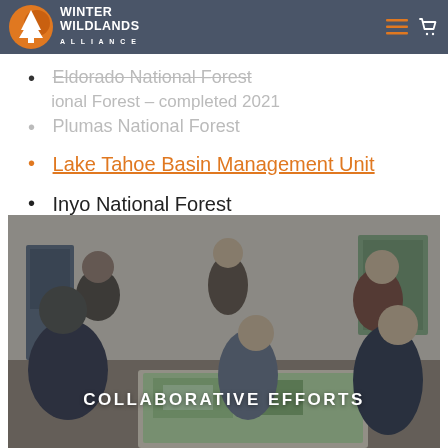WINTER WILDLANDS ALLIANCE — Navigation header with logo
Eldorado National Forest (strikethrough, partially visible)
Tahoe National Forest – completed 2021 (partially visible behind header)
Plumas National Forest
Lake Tahoe Basin Management Unit
Inyo National Forest
[Figure (photo): Group of people collaborating around a table with maps, indoors in a community room. Text overlay reads COLLABORATIVE EFFORTS.]